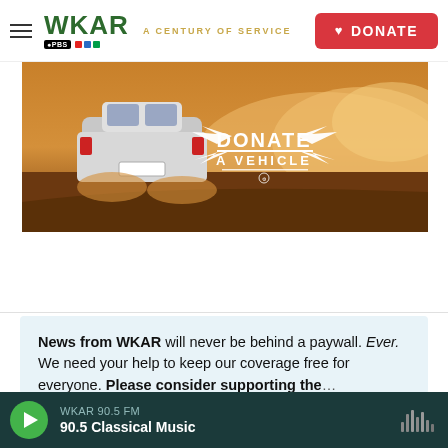WKAR A CENTURY OF SERVICE — DONATE
[Figure (illustration): Banner image showing a car driving on a dusty dirt road kicking up golden dust clouds, with 'DONATE A VEHICLE' logo overlaid in white with wing graphics]
News from WKAR will never be behind a paywall. Ever. We need your help to keep our coverage free for everyone. Please consider supporting the...
WKAR 90.5 FM — 90.5 Classical Music (player bar)